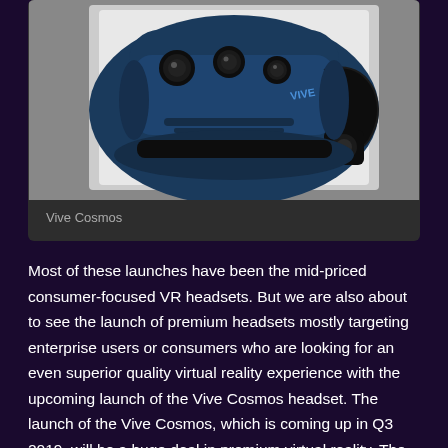[Figure (photo): HTC Vive Cosmos VR headset, dark navy blue color with multiple cameras on the front and a flip-up visor design, shown against a white background]
Vive Cosmos
Most of these launches have been the mid-priced consumer-focused VR headsets. But we are also about to see the launch of premium headsets mostly targeting enterprise users or consumers who are looking for an even superior quality virtual reality experience with the upcoming launch of the Vive Cosmos headset. The launch of the Vive Cosmos, which is coming up in Q3 2019, will be a huge deal in premium virtual reality. The release date and the pricing for the headset is yet to be divulged.